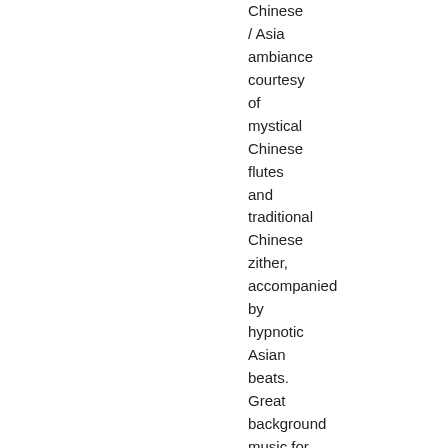Chinese / Asia ambiance courtesy of mystical Chinese flutes and traditional Chinese zither, accompanied by hypnotic Asian beats. Great background music for travel / geographic documentaries or other Asian or Chinese themed